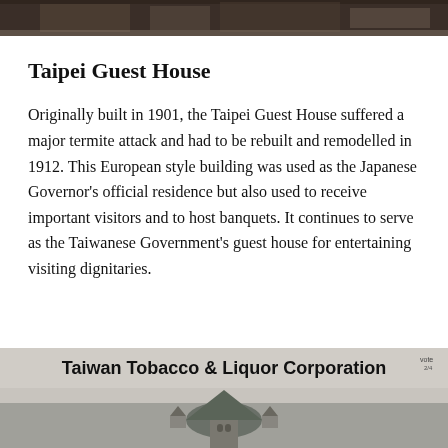[Figure (photo): Top strip showing a photograph of a building exterior, partially visible at the top of the page]
Taipei Guest House
Originally built in 1901, the Taipei Guest House suffered a major termite attack and had to be rebuilt and remodelled in 1912. This European style building was used as the Japanese Governor's official residence but also used to receive important visitors and to host banquets. It continues to serve as the Taiwanese Government's guest house for entertaining visiting dignitaries.
[Figure (photo): Photograph of the Taiwan Tobacco & Liquor Corporation building with a distinctive green dome/turret roof structure visible at the bottom of the page]
Taiwan Tobacco & Liquor Corporation